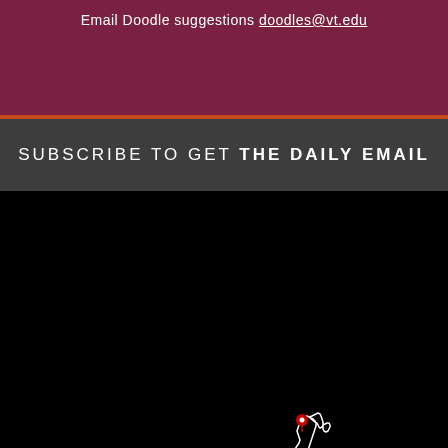Email Doodle suggestions doodles@vt.edu
SUBSCRIBE TO GET THE DAILY EMAIL
[Figure (map): Outline map of Virginia state in white on black background with red location pin markers indicating Virginia Tech campus locations]
[Figure (logo): Virginia Tech logo with VT monogram and wordmark VIRGINIA TECH in white on black background]
GET DIRECTIONS →
SEE ALL LOCATIONS →
CONTACT VIRGINIA TECH →